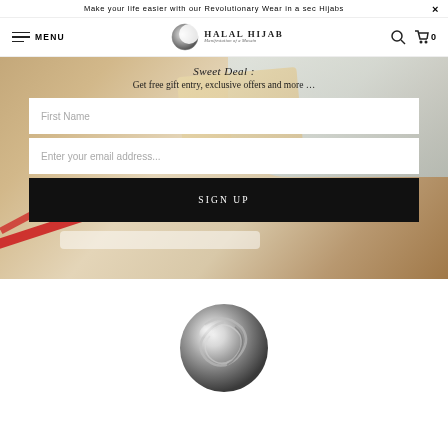Make your life easier with our Revolutionary Wear in a sec Hijabs ×
[Figure (logo): Halal Hijab logo with crescent moon icon and text 'HALAL HIJAB' and subtitle 'Manifestation of a Musain']
MENU
Sweet Deal :
Get free gift entry, exclusive offers and more …
First Name
Enter your email address...
SIGN UP
[Figure (logo): Halal Hijab silver/chrome orb logo at bottom of page]